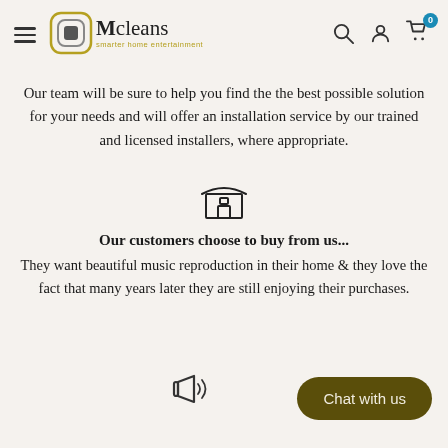Mcleans — smarter home entertainment — navigation header with search, account, cart icons
Our team will be sure to help you find the the best possible solution for your needs and will offer an installation service by our trained and licensed installers, where appropriate.
[Figure (illustration): Store/shop front icon — outline drawing of a small shop with awning and door]
Our customers choose to buy from us...
They want beautiful music reproduction in their home & they love the fact that many years later they are still enjoying their purchases.
[Figure (illustration): Megaphone/speaker icon with sound waves]
Chat with us